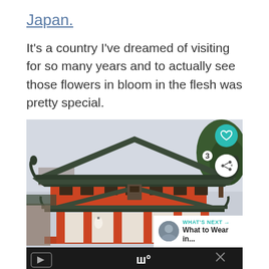Japan.
It's a country I've dreamed of visiting for so many years and to actually see those flowers in bloom in the flesh was pretty special.
[Figure (photo): A traditional Japanese temple gate (torii-style gate) painted in vermillion/orange-red with a dark tiled roof, photographed from below. A pine tree is visible in the upper right. There are white lanterns hanging at the base of the gate. Overlaid UI elements include a teal heart button, a share button showing count '3', a 'What's Next' card showing 'What to Wear in...', and an ad bar at the bottom.]